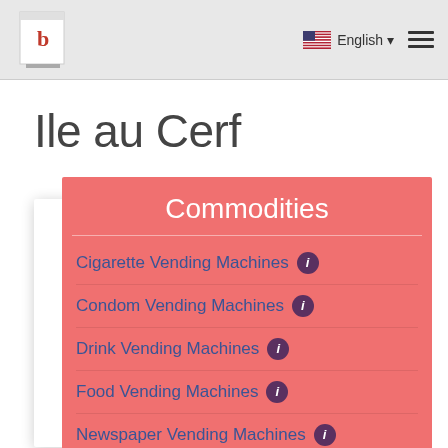b | English ☰
Ile au Cerf
Commodities
Cigarette Vending Machines
Condom Vending Machines
Drink Vending Machines
Food Vending Machines
Newspaper Vending Machines